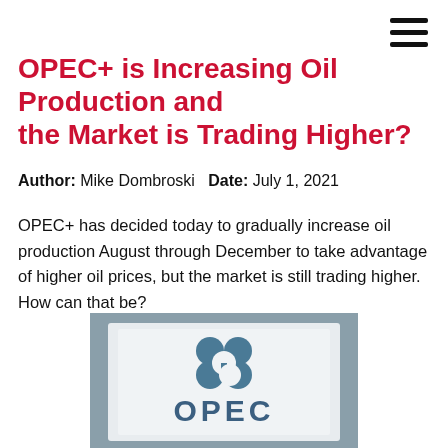OPEC+ is Increasing Oil Production and the Market is Trading Higher?
Author: Mike Dombroski   Date: July 1, 2021
OPEC+ has decided today to gradually increase oil production August through December to take advantage of higher oil prices, but the market is still trading higher. How can that be?
[Figure (photo): OPEC logo sign — a blue stylized flower/clover emblem above the text 'OPEC' in large blue letters on a white rectangular sign, set against a blurred grey background.]